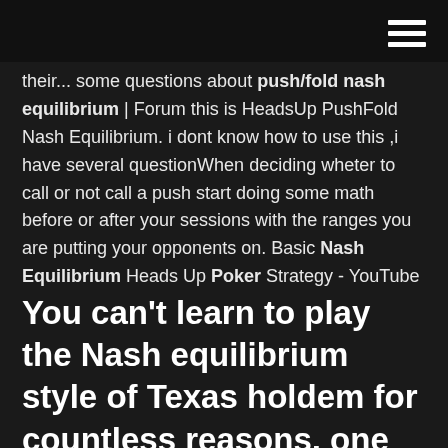[hamburger menu icon]
their... some questions about push/fold nash equilibrium | Forum this is HeadsUp PushFold Nash Equilibrium. i dont know how to use this ,i have several questionâWhen deciding wheter to call or not call a push start doing some math before or after your sessions with the ranges you are putting your opponents on. Basic Nash Equilibrium Heads Up Poker Strategy - YouTube
You can’t learn to play the Nash equilibrium style of Texas holdem for countless reasons, one being that the coaching market is so saturated with perhaps those days you’d b...